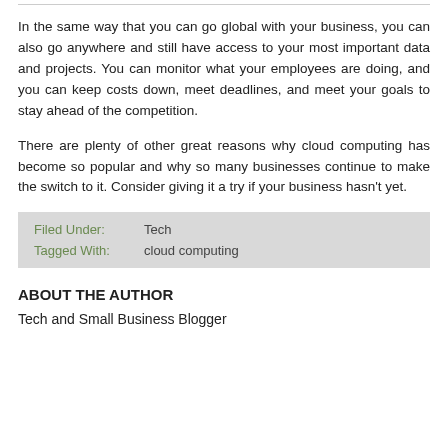In the same way that you can go global with your business, you can also go anywhere and still have access to your most important data and projects. You can monitor what your employees are doing, and you can keep costs down, meet deadlines, and meet your goals to stay ahead of the competition.
There are plenty of other great reasons why cloud computing has become so popular and why so many businesses continue to make the switch to it. Consider giving it a try if your business hasn't yet.
| Filed Under: | Tech | Tagged With: | cloud computing |
| --- | --- | --- | --- |
ABOUT THE AUTHOR
Tech and Small Business Blogger